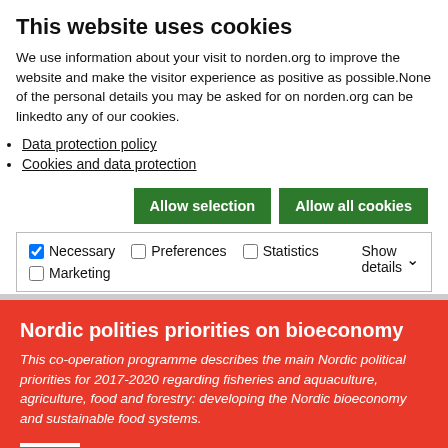This website uses cookies
We use information about your visit to norden.org to improve the website and make the visitor experience as positive as possible.None of the personal details you may be asked for on norden.org can be linkedto any of our cookies.
Data protection policy
Cookies and data protection
Allow selection
Allow all cookies
✓ Necessary  ☐ Preferences  ☐ Statistics  ☐ Marketing  Show details ▾
Nordic polities priorities on bioeconomy
This co-operation programme describes the main Nordic political priorities for 2017-2020 regarding fisheries and aquaculture, agriculture, food and forestry: developing the Nordic bioeconomy and sustainable food systems.